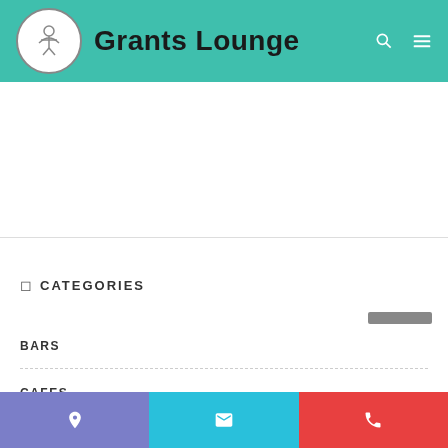Grants Lounge
CATEGORIES
BARS
CAFES
EATERY BUSINESS
NIGHTCLUBS
RESTAURANTS